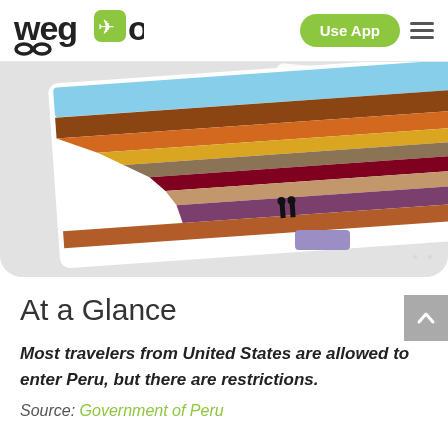wego [logo] | Use App [button] | Menu [hamburger]
[Figure (screenshot): Wego app screenshot showing a photo of the Rainbow Mountain in Peru with two people silhouetted against colorful striped rock formations, displayed as a tilted photo card on a gray background with a subtle map pattern. A purple bookmark/tab element is visible on the card.]
At a Glance
Most travelers from United States are allowed to enter Peru, but there are restrictions.
Source: Government of Peru